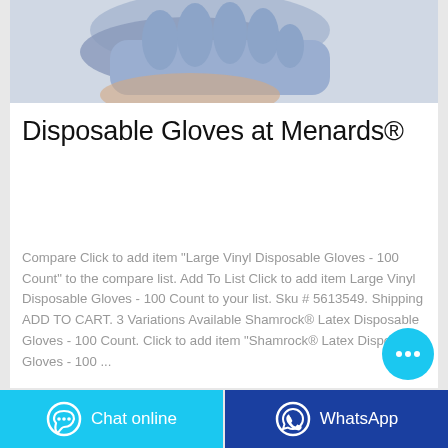[Figure (photo): Product photo showing a hand wearing a blue/purple disposable glove against a light gray background]
Disposable Gloves at Menards®
Compare Click to add item "Large Vinyl Disposable Gloves - 100 Count" to the compare list. Add To List Click to add item Large Vinyl Disposable Gloves - 100 Count to your list. Sku # 5613549. Shipping ADD TO CART. 3 Variations Available Shamrock® Latex Disposable Gloves - 100 Count. Click to add item "Shamrock® Latex Disposable Gloves - 100 ...
[Figure (illustration): Cyan circular chat bubble button with ellipsis icon]
[Figure (infographic): Bottom bar with two buttons: cyan 'Chat online' button and dark blue 'WhatsApp' button]